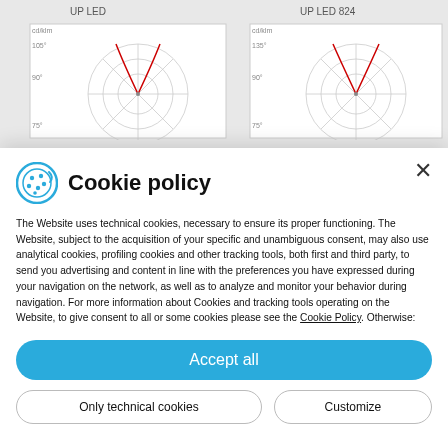[Figure (other): Background page showing two polar/photometric diagrams labeled UP LED and UP LED 824]
Cookie policy
The Website uses technical cookies, necessary to ensure its proper functioning. The Website, subject to the acquisition of your specific and unambiguous consent, may also use analytical cookies, profiling cookies and other tracking tools, both first and third party, to send you advertising and content in line with the preferences you have expressed during your navigation on the network, as well as to analyze and monitor your behavior during navigation. For more information about Cookies and tracking tools operating on the Website, to give consent to all or some cookies please see the Cookie Policy. Otherwise:
By clicking on “Accept all”, you consent to the use of cookies and other technologies on the Site.
By clicking on “Only technical cookies”, or on the “X” at the top right, only the necessary technical cookies will be installed.
By clicking on "Customize", you will be able to accept only certain types of cookies.